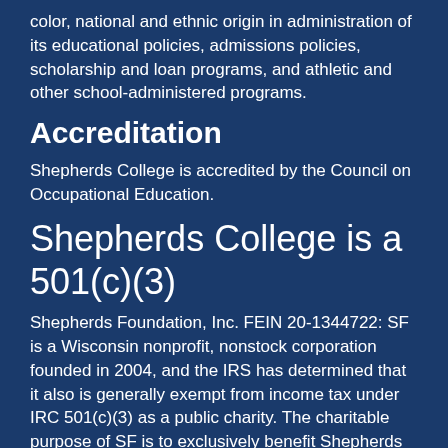color, national and ethnic origin in administration of its educational policies, admissions policies, scholarship and loan programs, and athletic and other school-administered programs.
Accreditation
Shepherds College is accredited by the Council on Occupational Education.
Shepherds College is a 501(c)(3)
Shepherds Foundation, Inc. FEIN 20-1344722: SF is a Wisconsin nonprofit, nonstock corporation founded in 2004, and the IRS has determined that it also is generally exempt from income tax under IRC 501(c)(3) as a public charity. The charitable purpose of SF is to exclusively benefit Shepherds College.